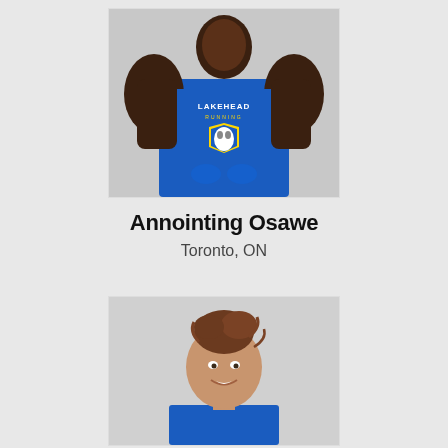[Figure (photo): Male athlete wearing a blue Lakehead Running Nike tank top, muscular build, photographed against a white/grey background, upper body visible]
Annointing Osawe
Toronto, ON
[Figure (photo): Female athlete with hair up, smiling, wearing a blue athletic top, photographed against a white/grey background, head and shoulders visible]